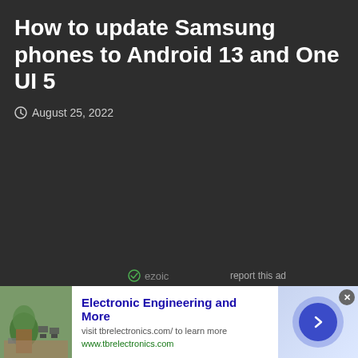How to update Samsung phones to Android 13 and One UI 5
August 25, 2022
[Figure (other): Dark background content area (empty)]
ezoic   report this ad
[Figure (other): Advertisement banner: Electronic Engineering and More, visit tbrelectronics.com/ to learn more, www.tbrelectronics.com]